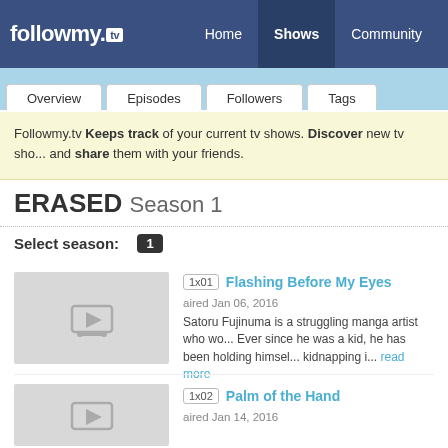followmy.tv — Home | Shows | Community
Followmy.tv Keeps track of your current tv shows. Discover new tv shows and share them with your friends.
ERASED Season 1
Select season: 1
1x01 Flashing Before My Eyes aired Jan 06, 2016
Satoru Fujinuma is a struggling manga artist who wo... Ever since he was a kid, he has been holding himself... kidnapping i... read more
1x02 Palm of the Hand aired Jan 14, 2016